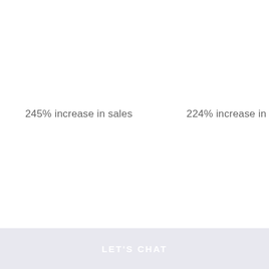245% increase in sales
224% increase in traffic
LET'S CHAT